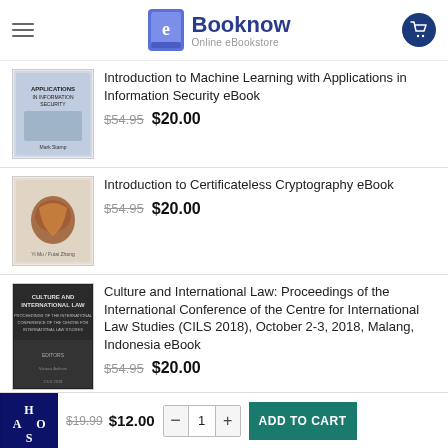Booknow — Online eBookstore
Introduction to Machine Learning with Applications in Information Security eBook
$54.95  $20.00
Introduction to Certificateless Cryptography eBook
$54.95  $20.00
Culture and International Law: Proceedings of the International Conference of the Centre for International Law Studies (CILS 2018), October 2-3, 2018, Malang, Indonesia eBook
$54.95  $20.00
CompTIA CySA+ Practice Tests: Exam CS0-001 eBook
$19.99  $12.00  ADD TO CART